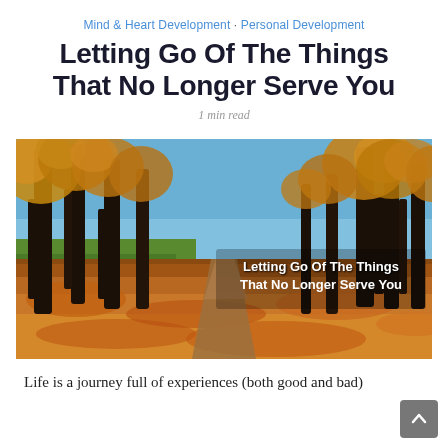Mind & Heart Development · Personal Development
Letting Go Of The Things That No Longer Serve You
1 min read
[Figure (photo): Autumn scene with tall bare trees lining a path covered in fallen orange and yellow leaves, with blue sky in the background. Overlay text reads: Letting Go Of The Things That No Longer Serve You]
Life is a journey full of experiences (both good and bad) that help us to grow and develop into the person we are today.